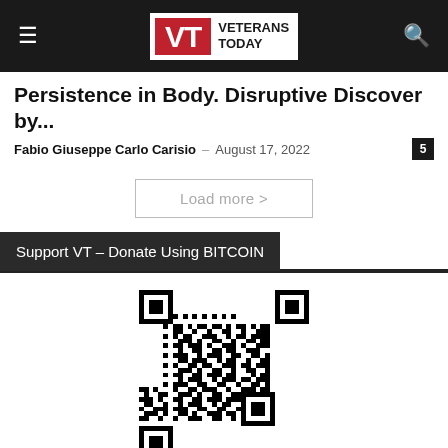Veterans Today
Persistence in Body. Disruptive Discover by...
Fabio Giuseppe Carlo Carisio – August 17, 2022
Load more >
Support VT – Donate Using BITCOIN
[Figure (other): QR code for Bitcoin donations to Veterans Today]
[Figure (logo): Bitcoin logo with orange circle and italic bitcoin text]